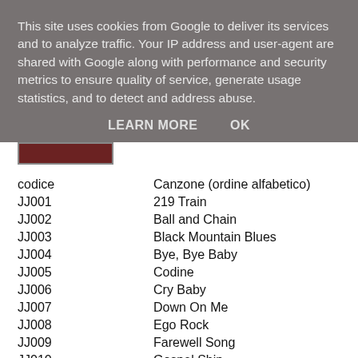This site uses cookies from Google to deliver its services and to analyze traffic. Your IP address and user-agent are shared with Google along with performance and security metrics to ensure quality of service, generate usage statistics, and to detect and address abuse.
LEARN MORE    OK
| codice | Canzone (ordine alfabetico) |
| --- | --- |
| JJ001 | 219 Train |
| JJ002 | Ball and Chain |
| JJ003 | Black Mountain Blues |
| JJ004 | Bye, Bye Baby |
| JJ005 | Codine |
| JJ006 | Cry Baby |
| JJ007 | Down On Me |
| JJ008 | Ego Rock |
| JJ009 | Farewell Song |
| JJ010 | Gospel Ship |
| JJ011 | Half moon |